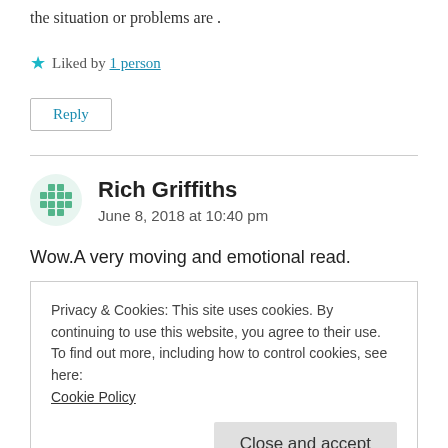the situation or problems are .
★ Liked by 1 person
Reply
Rich Griffiths
June 8, 2018 at 10:40 pm
Wow.A very moving and emotional read.
Privacy & Cookies: This site uses cookies. By continuing to use this website, you agree to their use.
To find out more, including how to control cookies, see here:
Cookie Policy
Close and accept
story to end fast. I kept swiping the page up